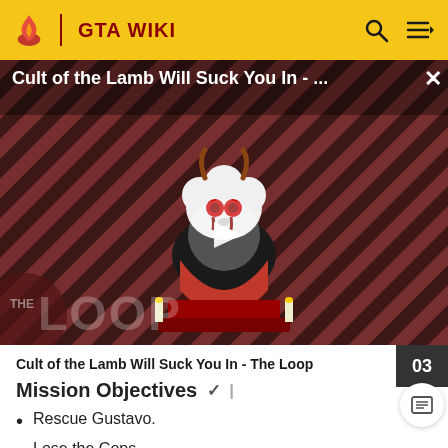GTA WIKI
[Figure (screenshot): Video thumbnail showing a cartoon lamb character with red eyes on a red and black diagonal stripe background, with a play button in the center. Title overlay reads 'Cult of the Lamb Will Suck You In - ...' with THE LOOP watermark at bottom left.]
Cult of the Lamb Will Suck You In - The Loop
Mission Objectives
Rescue Gustavo.
Lose the Cops.